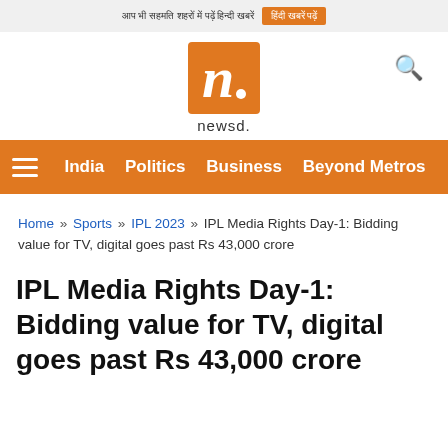आप भी सहमति शहरों में पढ़ें हिन्दी खबरें | हिंदी खबरें पढ़ें
[Figure (logo): newsd logo - orange square with white n. letter and newsd. text below]
India | Politics | Business | Beyond Metros
Home » Sports » IPL 2023 » IPL Media Rights Day-1: Bidding value for TV, digital goes past Rs 43,000 crore
IPL Media Rights Day-1: Bidding value for TV, digital goes past Rs 43,000 crore